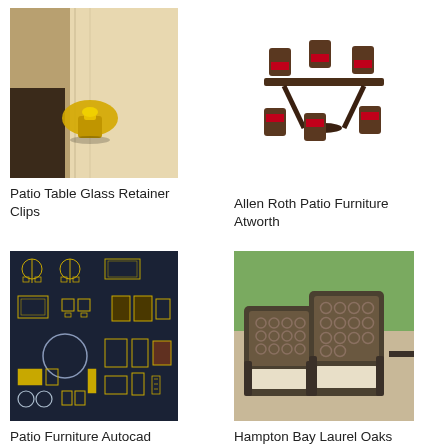[Figure (photo): Close-up photo of a yellow plastic patio table glass retainer clip attached to a wooden surface]
Patio Table Glass Retainer Clips
[Figure (photo): Photo of Allen Roth Atworth patio dining set with dark table and chairs with red cushions on white background]
Allen Roth Patio Furniture Atworth
[Figure (engineering-diagram): Dark navy CAD drawing showing various patio furniture AutoCAD blocks including chairs, tables, umbrellas, and other outdoor furniture pieces in gold/yellow outlines]
Patio Furniture Autocad Block Free
[Figure (photo): Photo of Hampton Bay Laurel Oaks patio chairs with beige cushions and dark metal lattice backs on an outdoor patio]
Hampton Bay Laurel Oaks Patio Chairs